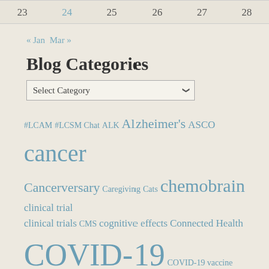| 23 | 24 | 25 | 26 | 27 | 28 |
| --- | --- | --- | --- | --- | --- |
« Jan  Mar »
Blog Categories
Select Category
#LCAM #LCSM Chat ALK Alzheimer's ASCO cancer Cancerversary Caregiving Cats chemobrain clinical trial clinical trials CMS cognitive effects Connected Health COVID-19 COVID-19 vaccine Crizotinib Death and dying Dementia edema EGFR epatient Family FDA genomic testing gratitude Hawaii Health Insurance holidays Hope IASLC insurance loss Lung cancer Lung Cancer Awareness Month Lung Cancer Screening lung cancer screening with LDCT